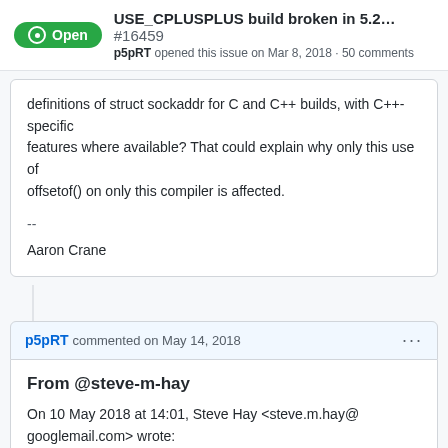USE_CPLUSPLUS build broken in 5.2... #16459
p5pRT opened this issue on Mar 8, 2018 · 50 comments
definitions of struct sockaddr for C and C++ builds, with C++-specific
features where available? That could explain why only this use of
offsetsof() on only this compiler is affected.

--
Aaron Crane
p5pRT commented on May 14, 2018
From @steve-m-hay
On 10 May 2018 at 14:01, Steve Hay <steve.m.hay@googlemail.com> wrote:
On 10 May 2018 at 10:29, Dave Mitchell <davem@